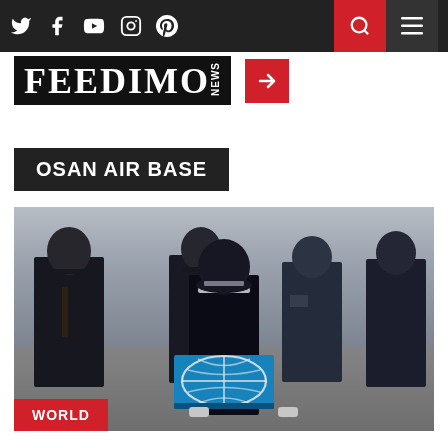Feedimo News - Navigation bar with Twitter, Facebook, YouTube, Instagram, Pinterest icons, search and menu
[Figure (logo): Feedimo News logo — black rectangle with FEEDIMO in large serif font and 'news' vertically, followed by red arrow box]
OSAN AIR BASE
[Figure (photo): Military honor guard ceremony at Osan Air Base. A soldier in dark uniform with white gloves holds a box draped with a United Nations flag (blue with white globe emblem). Behind stand several soldiers in various military dress uniforms including US Marine Corps and Army uniforms. Setting appears to be an airfield tarmac.]
WORLD